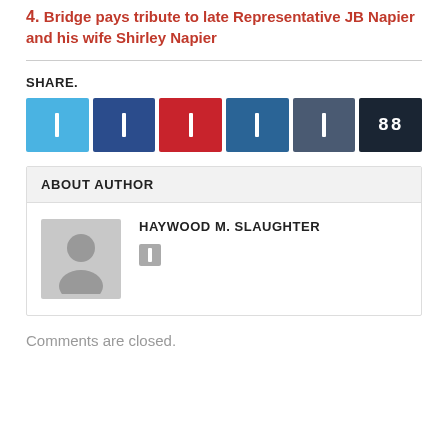4. Bridge pays tribute to late Representative JB Napier and his wife Shirley Napier
SHARE.
[Figure (infographic): Six social sharing buttons: Twitter (light blue), Facebook (dark blue), Pinterest (red), LinkedIn (teal/dark blue), VK (dark slate), and a counter showing 88 (dark navy). Each button contains a small white icon or counter text.]
ABOUT AUTHOR
[Figure (photo): Generic grey placeholder avatar showing a silhouette of a person with head and shoulders against a grey background.]
HAYWOOD M. SLAUGHTER
Comments are closed.